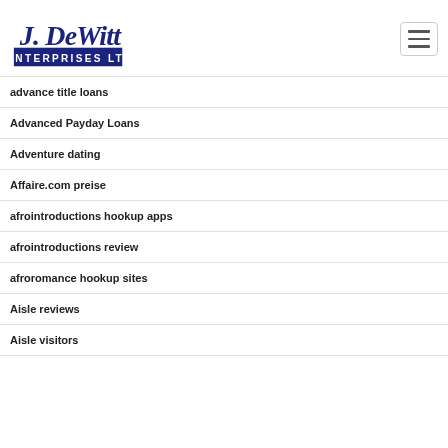J. DeWitt Enterprises Ltd
advance title loans
Advanced Payday Loans
Adventure dating
Affaire.com preise
afrointroductions hookup apps
afrointroductions review
afroromance hookup sites
Aisle reviews
Aisle visitors